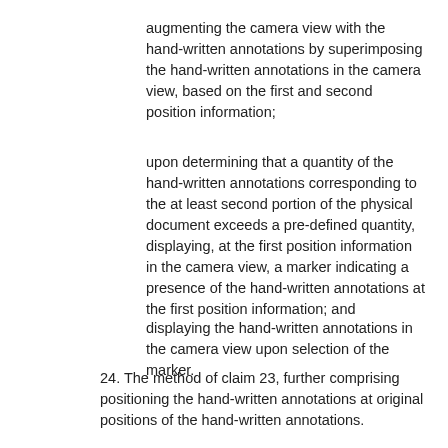augmenting the camera view with the hand-written annotations by superimposing the hand-written annotations in the camera view, based on the first and second position information;
upon determining that a quantity of the hand-written annotations corresponding to the at least second portion of the physical document exceeds a pre-defined quantity, displaying, at the first position information in the camera view, a marker indicating a presence of the hand-written annotations at the first position information; and
displaying the hand-written annotations in the camera view upon selection of the marker.
24. The method of claim 23, further comprising positioning the hand-written annotations at original positions of the hand-written annotations.
25. The method of claim 23, further comprising positioning the hand-written annotations relative to position information of the at least portion of the physical document in the camera view.